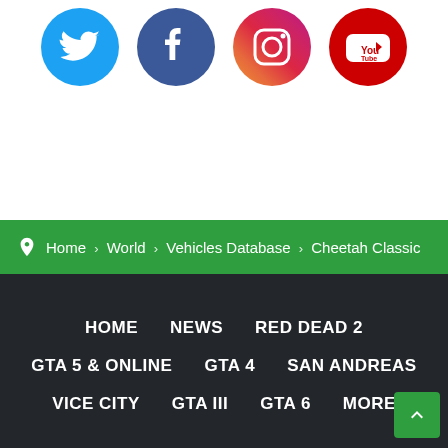[Figure (infographic): Four social media icons: Twitter (blue bird), Facebook (blue f), Instagram (gradient camera), YouTube (red play button)]
Home › World › Vehicles Database › Cheetah Classic
HOME
NEWS
RED DEAD 2
GTA 5 & ONLINE
GTA 4
SAN ANDREAS
VICE CITY
GTA III
GTA 6
MORE